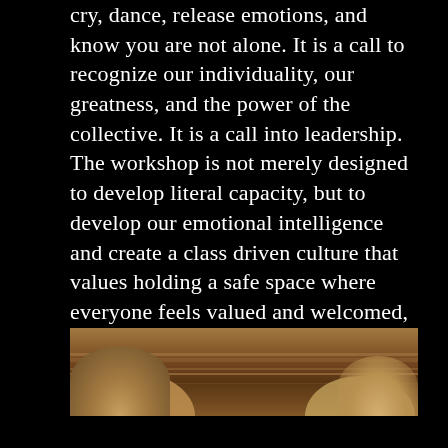cry, dance, release emotions, and know you are not alone. It is a call to recognize our individuality, our greatness, and the power of the collective. It is a call into leadership. The workshop is not merely designed to develop literal capacity, but to develop our emotional intelligence and create a class driven culture that values holding a safe space where everyone feels valued and welcomed, and no one is excluded. It is a place where we can be who we are and celebrate who we are becoming.
[Figure (photo): Photograph showing the tops of people's heads near what appears to be a wooden surface or desk, taken from above or at table level.]